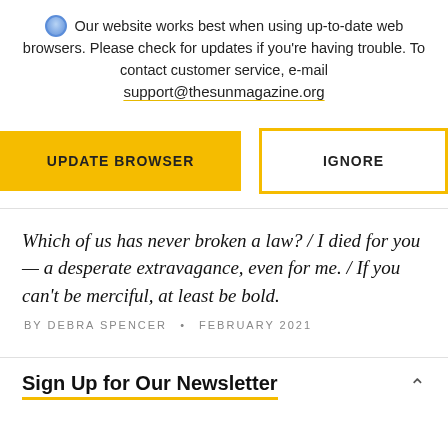Our website works best when using up-to-date web browsers. Please check for updates if you're having trouble. To contact customer service, e-mail support@thesunmagazine.org
[Figure (other): Two buttons: 'UPDATE BROWSER' (yellow filled) and 'IGNORE' (yellow outlined)]
Which of us has never broken a law? / I died for you — a desperate extravagance, even for me. / If you can't be merciful, at least be bold.
BY DEBRA SPENCER • FEBRUARY 2021
Sign Up for Our Newsletter